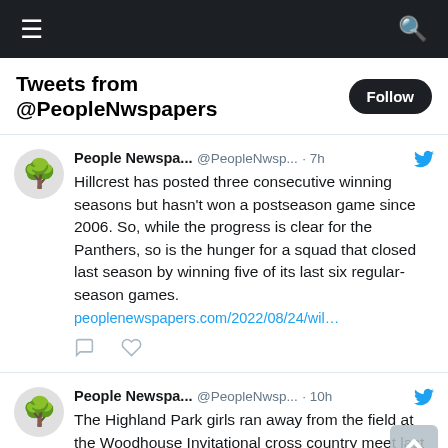☰   🔍
Tweets from @PeopleNwspapers
People Newspa... @PeopleNwsp... · 7h
Hillcrest has posted three consecutive winning seasons but hasn't won a postseason game since 2006. So, while the progress is clear for the Panthers, so is the hunger for a squad that closed last season by winning five of its last six regular-season games.
peoplenewspapers.com/2022/08/24/wil…
People Newspa... @PeopleNwsp... · 10h
The Highland Park girls ran away from the field at the Woodhouse Invitational cross country meet last Saturday in Waxahachie.